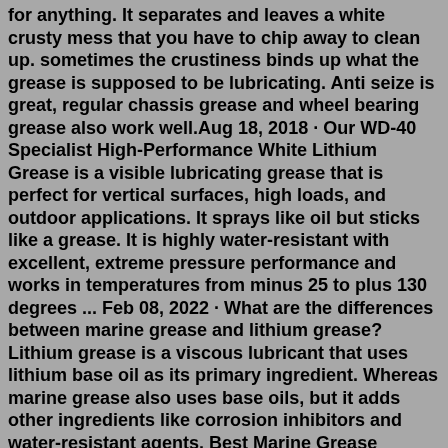for anything. It separates and leaves a white crusty mess that you have to chip away to clean up. sometimes the crustiness binds up what the grease is supposed to be lubricating. Anti seize is great, regular chassis grease and wheel bearing grease also work well.Aug 18, 2018 · Our WD-40 Specialist High-Performance White Lithium Grease is a visible lubricating grease that is perfect for vertical surfaces, high loads, and outdoor applications. It sprays like oil but sticks like a grease. It is highly water-resistant with excellent, extreme pressure performance and works in temperatures from minus 25 to plus 130 degrees ... Feb 08, 2022 · What are the differences between marine grease and lithium grease? Lithium grease is a viscous lubricant that uses lithium base oil as its primary ingredient. Whereas marine grease also uses base oils, but it adds other ingredients like corrosion inhibitors and water-resistant agents. Best Marine Grease Reviews in 2021 1. Tie Down Engineering Lucas Oil Marine Grease 2. Quicksilver Marine Lubricant Grease 3. Plews & Edelmann